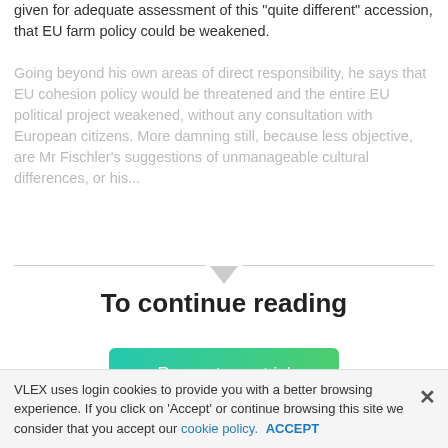given for adequate assessment of this "quite different" accession, that EU farm policy could be weakened.
Going beyond his own areas of direct responsibility, he says that EU cohesion policy would be threatened and the entire EU political project weakened, without any consultation with European citizens. More damning still, because less objective, are Mr Fischler's suggestions of unmanageable cultural differences, or his...
To continue reading
[Figure (other): Request your trial button with gradient green background]
COPYRIGHT TV...
VLEX uses login cookies to provide you with a better browsing experience. If you click on 'Accept' or continue browsing this site we consider that you accept our cookie policy. ACCEPT